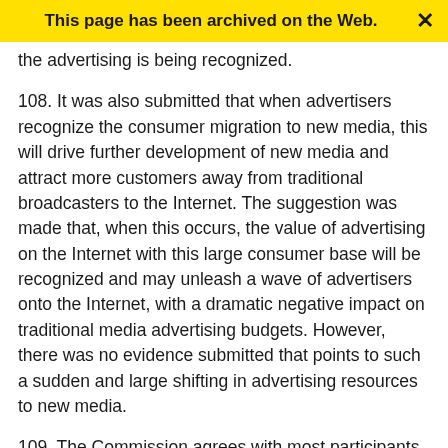This page has been archived on the Web.
the advertising is being recognized.
108. It was also submitted that when advertisers recognize the consumer migration to new media, this will drive further development of new media and attract more customers away from traditional broadcasters to the Internet. The suggestion was made that, when this occurs, the value of advertising on the Internet with this large consumer base will be recognized and may unleash a wave of advertisers onto the Internet, with a dramatic negative impact on traditional media advertising budgets. However, there was no evidence submitted that points to such a sudden and large shifting in advertising resources to new media.
109. The Commission agrees with most participants that there is currently no evidence that the Internet has had a negative impact on the advertising revenues of regulated broadcasters as a result of the growth in on-line